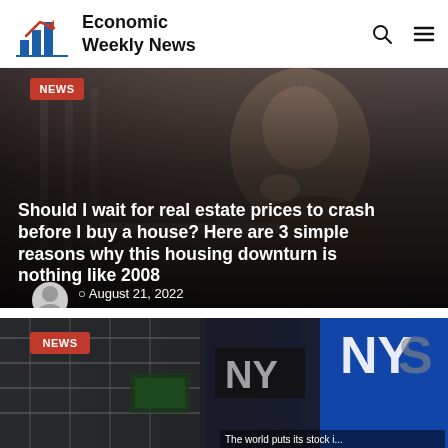Economic Weekly News
[Figure (screenshot): Hero news article image: man in dark coat looking pensively at a laptop, with overlay text and date. Category badge 'NEWS' shown top left.]
Should I wait for real estate prices to crash before I buy a house? Here are 3 simple reasons why this housing downturn is nothing like 2008
August 21, 2022
[Figure (photo): NYSE exterior building photo with 'NEWS' badge and partial caption 'The world puts its stock i...']